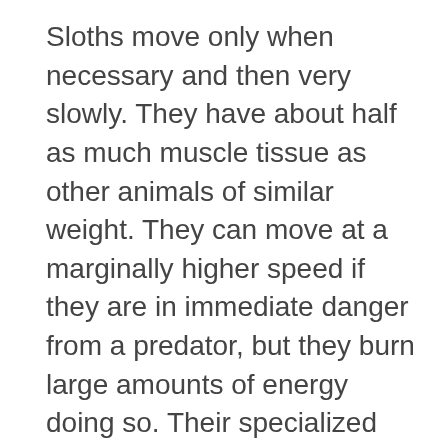Sloths move only when necessary and then very slowly. They have about half as much muscle tissue as other animals of similar weight. They can move at a marginally higher speed if they are in immediate danger from a predator, but they burn large amounts of energy doing so. Their specialized hands and feet have long, curved claws to allow them to hang upside-down from branches without effort. While they sometimes sit on top of branches, they usually eat, sleep, and even give birth hanging from limbs.
Sloths go to the ground to urinate and defecate about once a week, digging a hole and covering it afterward. They go to the same spot each time and are vulnerable to predation while doing so.